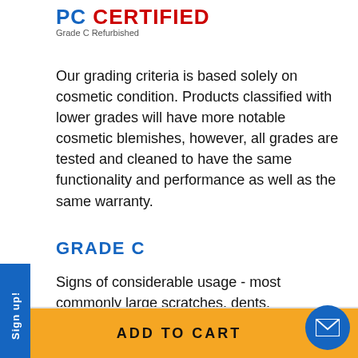PC CERTIFIED Grade C Refurbished
Our grading criteria is based solely on cosmetic condition. Products classified with lower grades will have more notable cosmetic blemishes, however, all grades are tested and cleaned to have the same functionality and performance as well as the same warranty.
GRADE C
Signs of considerable usage - most commonly large scratches, dents, chipped/broken plastic, cracks, worn corners, and /or discoloration. Screens can have noticeable defects..